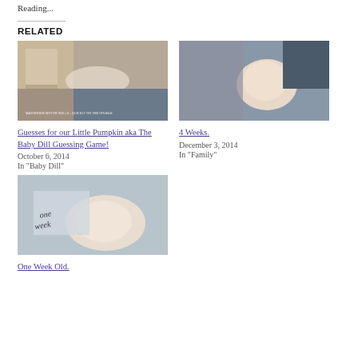Reading...
RELATED
[Figure (photo): Child lying on floor reaching toward a bed, with overlaid text about mastering motor skills]
Guesses for our Little Pumpkin aka The Baby Dill Guessing Game!
October 6, 2014
In "Baby Dill"
[Figure (photo): Newborn baby lying close to adult, close-up photo]
4 Weeks.
December 3, 2014
In "Family"
[Figure (photo): Newborn baby lying on blanket next to a sign reading 'one week']
One Week Old.